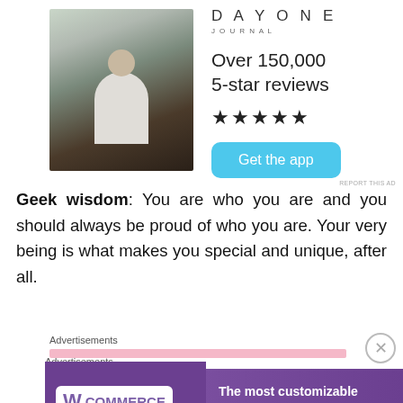[Figure (photo): Day One Journal advertisement showing a person sitting on rocks photographing a sunset, with app name, '5-star reviews' text, star rating, and 'Get the app' button]
Geek wisdom: You are who you are and you should always be proud of who you are. Your very being is what makes you special and unique, after all.
Advertisements
[Figure (logo): WooCommerce advertisement banner: WooCommerce logo on left, text 'The most customizable eCommerce platform' on right, purple background]
Advertisements